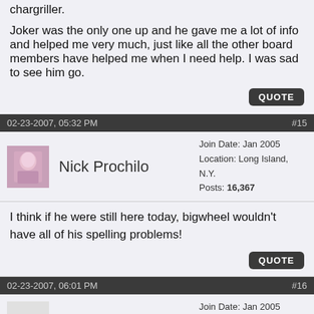chargriller.

Joker was the only one up and he gave me a lot of info and helped me very much, just like all the other board members have helped me when I need help. I was sad to see him go.
QUOTE
02-23-2007, 05:32 PM    #15
Nick Prochilo   Join Date: Jan 2005  Location: Long Island, N.Y.  Posts: 16,367
I think if he were still here today, bigwheel wouldn't have all of his spelling problems!
QUOTE
02-23-2007, 06:01 PM    #16
Greg Rempe   Join Date: Jan 2005  Location: Cleveland, Ohio  Posts: 8,177
**This thread horse matt**